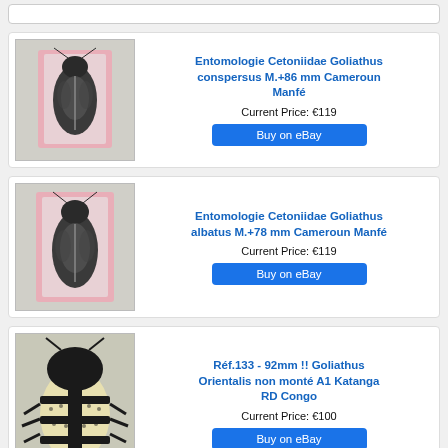[Figure (other): Search bar at top of page]
[Figure (photo): Photo of Goliathus conspersus beetle specimen in plastic packaging on pink background]
Entomologie Cetoniidae Goliathus conspersus M.+86 mm Cameroun Manfé
Current Price: €119
Buy on eBay
[Figure (photo): Photo of Goliathus albatus beetle specimen in plastic packaging on pink background]
Entomologie Cetoniidae Goliathus albatus M.+78 mm Cameroun Manfé
Current Price: €119
Buy on eBay
[Figure (photo): Photo of large black and cream Goliathus Orientalis beetle specimen with label 133 and 92mm]
Réf.133 - 92mm !! Goliathus Orientalis non monté A1 Katanga RD Congo
Current Price: €100
Buy on eBay